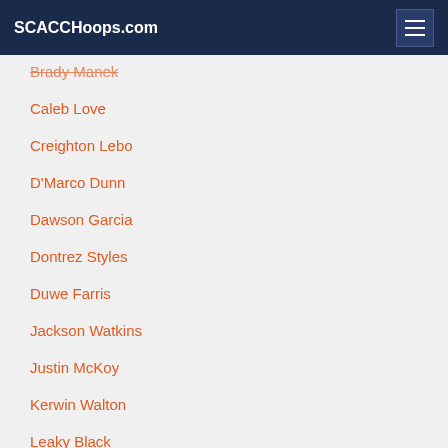SCACCHoops.com
Brady Manek
Caleb Love
Creighton Lebo
D'Marco Dunn
Dawson Garcia
Dontrez Styles
Duwe Farris
Jackson Watkins
Justin McKoy
Kerwin Walton
Leaky Black
Puff Johnson